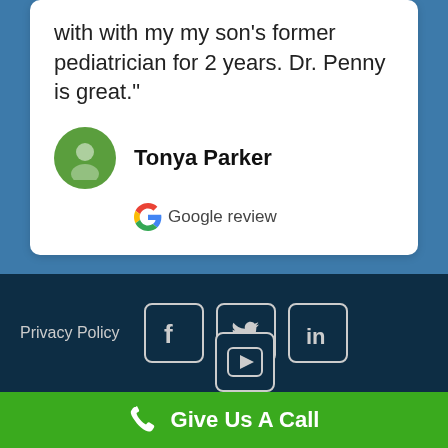with with my my son's former pediatrician for 2 years. Dr. Penny is great."
Tonya Parker
Google review
Privacy Policy
[Figure (screenshot): Social media icons: Facebook, Twitter, LinkedIn, YouTube]
Give Us A Call